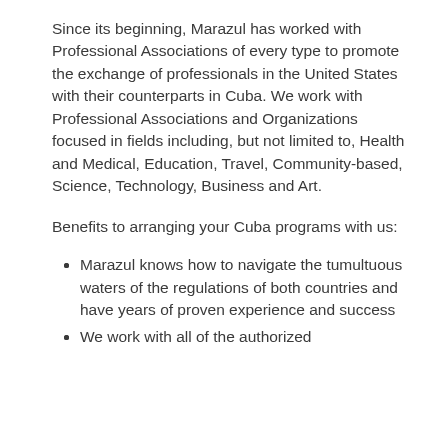Since its beginning, Marazul has worked with Professional Associations of every type to promote the exchange of professionals in the United States with their counterparts in Cuba. We work with Professional Associations and Organizations focused in fields including, but not limited to, Health and Medical, Education, Travel, Community-based, Science, Technology, Business and Art.
Benefits to arranging your Cuba programs with us:
Marazul knows how to navigate the tumultuous waters of the regulations of both countries and have years of proven experience and success
We work with all of the authorized